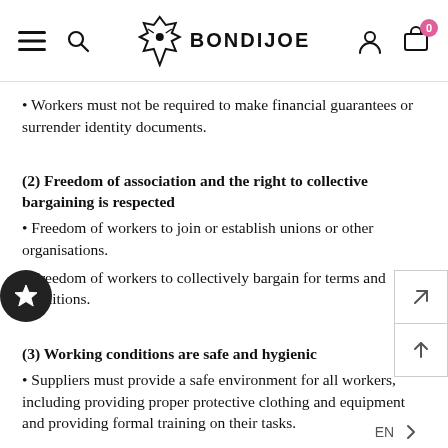BONDIJOE
Workers must not be required to make financial guarantees or surrender identity documents.
(2) Freedom of association and the right to collective bargaining is respected
Freedom of workers to join or establish unions or other organisations.
Freedom of workers to collectively bargain for terms and conditions.
(3) Working conditions are safe and hygienic
Suppliers must provide a safe environment for all workers, including providing proper protective clothing and equipment and providing formal training on their tasks.
EN >